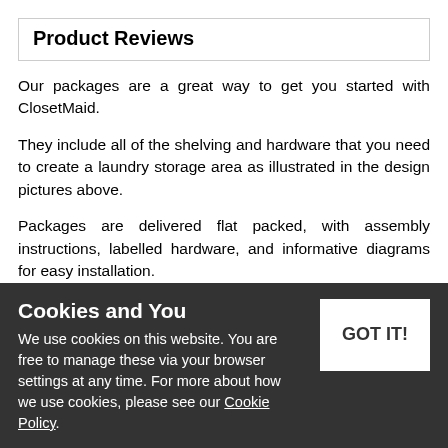Product Reviews
Our packages are a great way to get you started with ClosetMaid.
They include all of the shelving and hardware that you need to create a laundry storage area as illustrated in the design pictures above.
Packages are delivered flat packed, with assembly instructions, labelled hardware, and informative diagrams for easy installation.
This package uses ClosetMaid's Linen and Shelf & Rod style of shelving with Fixed Mount Hardware.
Shelf & Rod shelving features an integrated hang rod which sits 30.5cm (12") from the back wall.
The package will include:
1 x Full width top shelf for flat and folded items
1 x Full width hanging section for short garments
Cookies and You
We use cookies on this website. You are free to manage these via your browser settings at any time. For more about how we use cookies, please see our Cookie Policy.